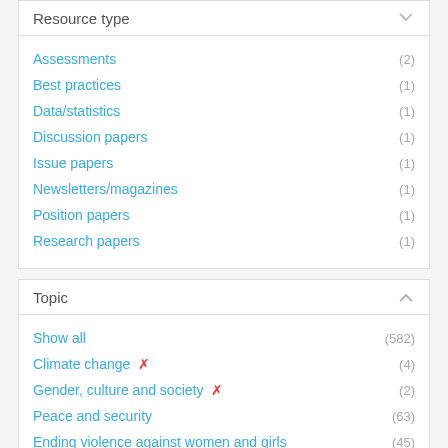Resource type
Assessments (2)
Best practices (1)
Data/statistics (1)
Discussion papers (1)
Issue papers (1)
Newsletters/magazines (1)
Position papers (1)
Research papers (1)
Topic
Show all (582)
Climate change ✕ (4)
Gender, culture and society ✕ (2)
Peace and security (63)
Ending violence against women and girls (45)
Economic empowerment (41)